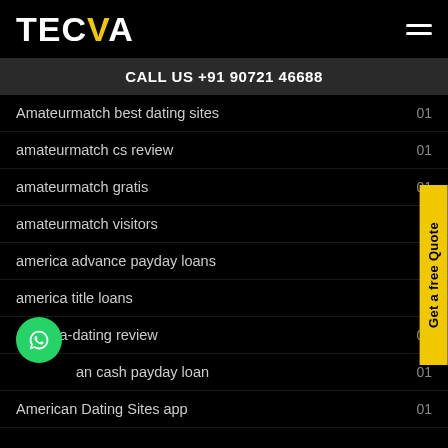TECVA
CALL US +91 90721 46688
Amateurmatch best dating sites  01
amateurmatch cs review  01
amateurmatch gratis  01
amateurmatch visitors
america advance payday loans
america title loans
america-dating review  01
american cash payday loan  01
American Dating Sites app  01
Get a free Quote